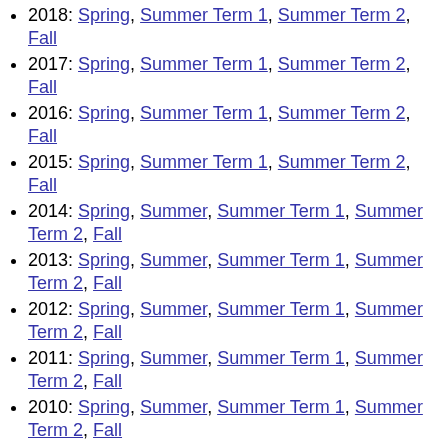2018: Spring, Summer Term 1, Summer Term 2, Fall
2017: Spring, Summer Term 1, Summer Term 2, Fall
2016: Spring, Summer Term 1, Summer Term 2, Fall
2015: Spring, Summer Term 1, Summer Term 2, Fall
2014: Spring, Summer, Summer Term 1, Summer Term 2, Fall
2013: Spring, Summer, Summer Term 1, Summer Term 2, Fall
2012: Spring, Summer, Summer Term 1, Summer Term 2, Fall
2011: Spring, Summer, Summer Term 1, Summer Term 2, Fall
2010: Spring, Summer, Summer Term 1, Summer Term 2, Fall
2009: Spring, Summer, Summer Term 1, Summer Term 2, Fall
2008: Spring, Summer, Summer Term 1, Summer Term 2, Fall
2007: Spring, Summer, Summer Term 1, Summer Term 2, Fall
2006: Spring, Summer Term 1, Summer ...